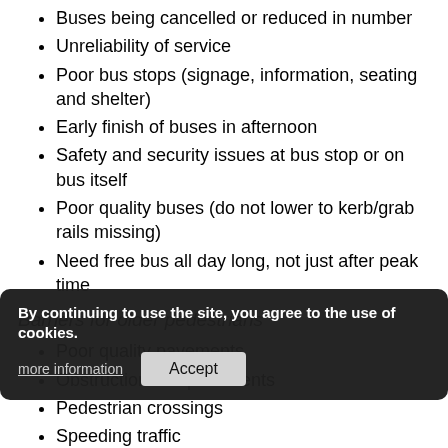Buses being cancelled or reduced in number
Unreliability of service
Poor bus stops (signage, information, seating and shelter)
Early finish of buses in afternoon
Safety and security issues at bus stop or on bus itself
Poor quality buses (do not lower to kerb/grab rails missing)
Need free bus all day long, not just after peak time
Barriers for older pedestrians
Poor quality pavements
Obstructions on pavements
Pedestrian crossings
Speeding traffic
Lack of street furniture
Poor street lighting
Pollution